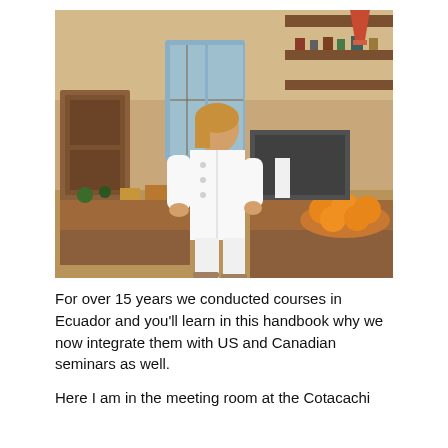[Figure (photo): A woman in a white chef's uniform walking through a large wooden kitchen with overhead shelving, cooking equipment, and a basket of oranges on the counter.]
For over 15 years we conducted courses in Ecuador and you'll learn in this handbook why we now integrate them with US and Canadian seminars as well.
Here I am in the meeting room at the Cotacachi